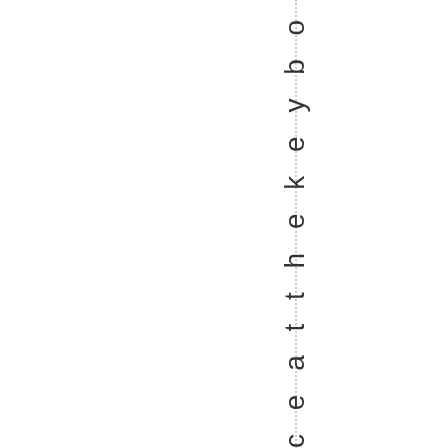c e a t t h e k e y b o a r d . C h r i s t m a s E v e w i